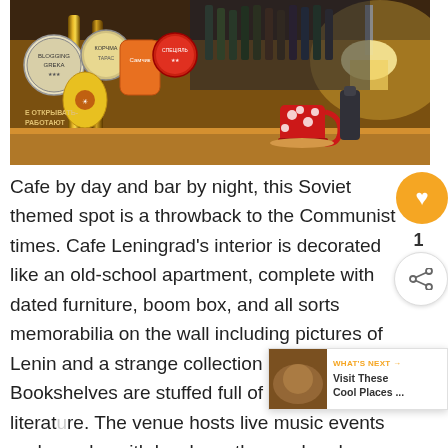[Figure (photo): Interior of a Soviet-themed bar/cafe showing beer taps in the foreground with colorful labels, bottles on shelves in the background, a red polka-dot mug on the bar counter, and a lamp glowing warmly on the right side.]
Cafe by day and bar by night, this Soviet themed spot is a throwback to the Communist times. Cafe Leningrad's interior is decorated like an old-school apartment, complete with dated furniture, boom box, and all sorts memorabilia on the wall including pictures of Lenin and a strange collection of bras! Bookshelves are stuffed full of Soviet literature. The venue hosts live music events and is popular with locals on the weekends.